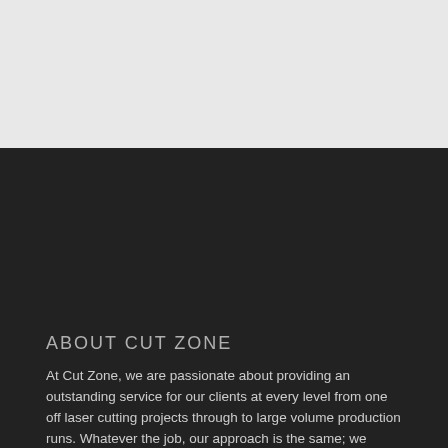[Figure (photo): Light grey background area at the top of the page]
ABOUT CUT ZONE
At Cut Zone, we are passionate about providing an outstanding service for our clients at every level from one off laser cutting projects through to large volume production runs. Whatever the job, our approach is the same; we believe in attention to detail, quality resources and fast delivery.
NAVIGATION
Home
About Cut Zone